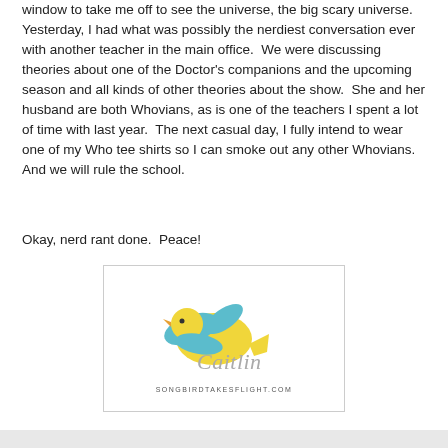window to take me off to see the universe, the big scary universe.  Yesterday, I had what was possibly the nerdiest conversation ever with another teacher in the main office.  We were discussing theories about one of the Doctor's companions and the upcoming season and all kinds of other theories about the show.  She and her husband are both Whovians, as is one of the teachers I spent a lot of time with last year.  The next casual day, I fully intend to wear one of my Who tee shirts so I can smoke out any other Whovians.  And we will rule the school.
Okay, nerd rant done.  Peace!
[Figure (logo): Songbird Takes Flight blog logo with a yellow bird with teal wings and the cursive text 'Caitlin' with SONGBIRDTAKESFLIGHT.COM underneath]